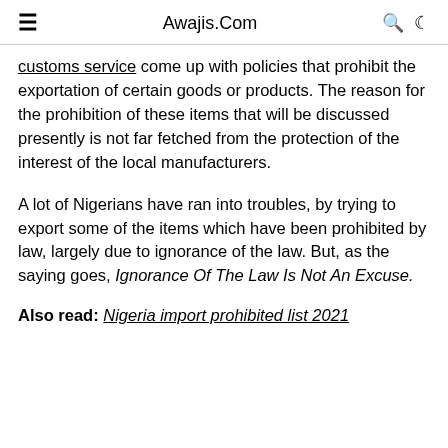≡   Awajis.Com   🔍 🌙
customs service come up with policies that prohibit the exportation of certain goods or products. The reason for the prohibition of these items that will be discussed presently is not far fetched from the protection of the interest of the local manufacturers.
A lot of Nigerians have ran into troubles, by trying to export some of the items which have been prohibited by law, largely due to ignorance of the law. But, as the saying goes, Ignorance Of The Law Is Not An Excuse.
Also read: Nigeria import prohibited list 2021